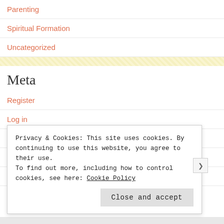Parenting
Spiritual Formation
Uncategorized
Meta
Register
Log in
Entries feed
Comments feed
WordPress.com
Privacy & Cookies: This site uses cookies. By continuing to use this website, you agree to their use. To find out more, including how to control cookies, see here: Cookie Policy